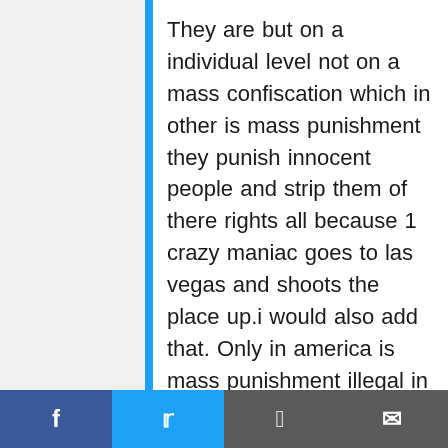They are but on a individual level not on a mass confiscation which in other is mass punishment they punish innocent people and strip them of there rights all because 1 crazy maniac goes to las vegas and shoots the place up.i would also add that. Only in america is mass punishment illegal in the penitentiary system to protect inmates from disciple brought upon them by correction officers due to a single individual causing problems yet us hard working law abiding decent americans are not afforded that protection thats because the govt is not and has never been nor willing and able to punish s like this happen the